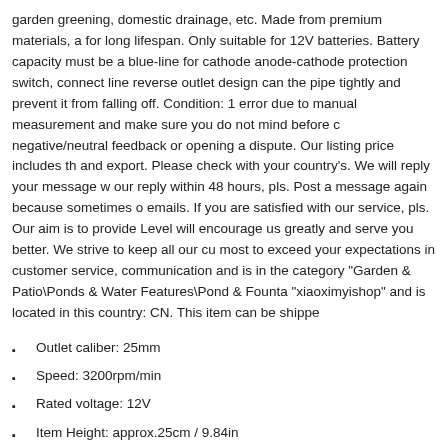garden greening, domestic drainage, etc. Made from premium materials, a for long lifespan. Only suitable for 12V batteries. Battery capacity must be a blue-line for cathode anode-cathode protection switch, connect line reverse outlet design can the pipe tightly and prevent it from falling off. Condition: 1 error due to manual measurement and make sure you do not mind before c negative/neutral feedback or opening a dispute. Our listing price includes th and export. Please check with your country's. We will reply your message w our reply within 48 hours, pls. Post a message again because sometimes o emails. If you are satisfied with our service, pls. Our aim is to provide Level will encourage us greatly and serve you better. We strive to keep all our cu most to exceed your expectations in customer service, communication and is in the category "Garden & Patio\Ponds & Water Features\Pond & Founta "xiaoximyishop" and is located in this country: CN. This item can be shippe
Outlet caliber: 25mm
Speed: 3200rpm/min
Rated voltage: 12V
Item Height: approx.25cm / 9.84in
Material: Copper
Power: 280W
Base diameter: approx.14.3cm /5.63in
Base diameter: approx.14.3cm /5.63in